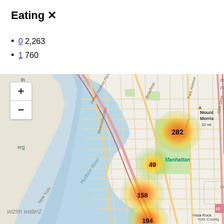Eating ✕
0 2,263
1 760
[Figure (map): Interactive map of Manhattan area showing heat map clusters of eating locations. Clusters labeled with numbers: 282 (upper cluster near Central Park), 49 (middle cluster), 158 (lower-middle cluster near Central Park), 194 (bottom cluster near Vista Rock). Map shows Hudson River, Henry Hudson Parkway, Broadway, Riverside Drive, Park Avenue, 3rd Avenue, FDR Drive. Watermark: wizim water2. Zoom controls (+/-) visible in top-left.]